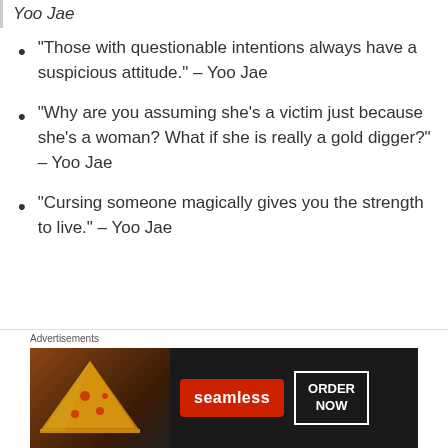Yoo Jae
“Those with questionable intentions always have a suspicious attitude.” – Yoo Jae
“Why are you assuming she’s a victim just because she’s a woman? What if she is really a gold digger?” – Yoo Jae
“Cursing someone magically gives you the strength to live.” – Yoo Jae
[Figure (other): Advertisement banner for Seamless food ordering service showing pizza image on left, red Seamless logo in center, and ORDER NOW button on right against dark background]